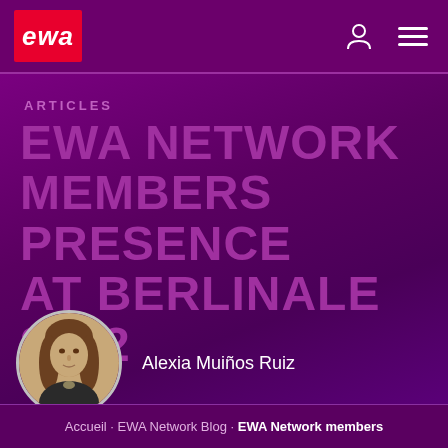ewa
ARTICLES
EWA NETWORK MEMBERS PRESENCE AT BERLINALE 2022
[Figure (photo): Circular portrait photo of Alexia Muiños Ruiz]
Alexia Muiños Ruiz
Accueil · EWA Network Blog · EWA Network members